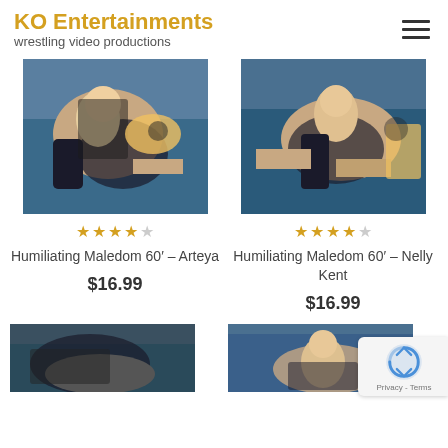KO Entertainments
wrestling video productions
[Figure (photo): Wrestling photo of blonde woman in black outfit applying submission hold on male opponent on blue mat]
[Figure (photo): Wrestling photo of dark-haired woman in black outfit applying submission hold on male opponent on blue mat]
★★★★☆ (4 stars out of 5)
★★★★☆ (4 stars out of 5)
Humiliating Maledom 60′ – Arteya
Humiliating Maledom 60′ – Nelly Kent
$16.99
$16.99
[Figure (photo): Partial wrestling photo at bottom left, dark tones]
[Figure (photo): Partial wrestling photo at bottom right, woman on blue mat]